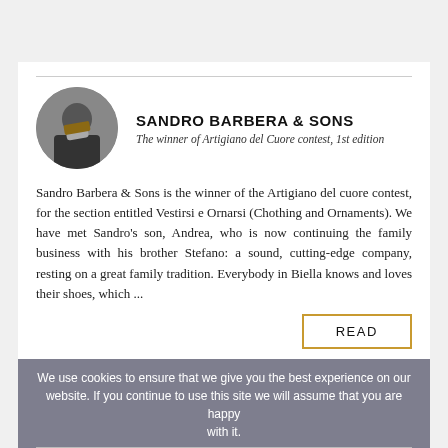[Figure (photo): Top grey bar area, part of webpage background]
SANDRO BARBERA & SONS
The winner of Artigiano del Cuore contest, 1st edition
Sandro Barbera & Sons is the winner of the Artigiano del cuore contest, for the section entitled Vestirsi e Ornarsi (Chothing and Ornaments). We have met Sandro's son, Andrea, who is now continuing the family business with his brother Stefano: a sound, cutting-edge company, resting on a great family tradition. Everybody in Biella knows and loves their shoes, which ...
READ
We use cookies to ensure that we give you the best experience on our website. If you continue to use this site we will assume that you are happy with it.
FABRIZIO TRAVISANUTTO
The winner of Artigiano del Cuore contest, 1st